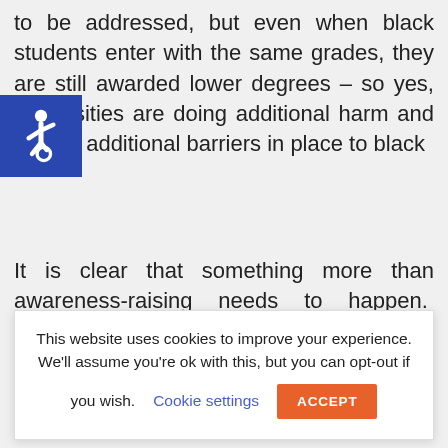to be addressed, but even when black students enter with the same grades, they are still awarded lower degrees – so yes, universities are doing additional harm and putting additional barriers in place to black
[Figure (illustration): Accessibility icon: white wheelchair symbol on blue square background]
This website uses cookies to improve your experience. We'll assume you're ok with this, but you can opt-out if you wish. Cookie settings ACCEPT
It is clear that something more than awareness-raising needs to happen.  Often this takes the form of initiating specific mentoring or coaching programmes for